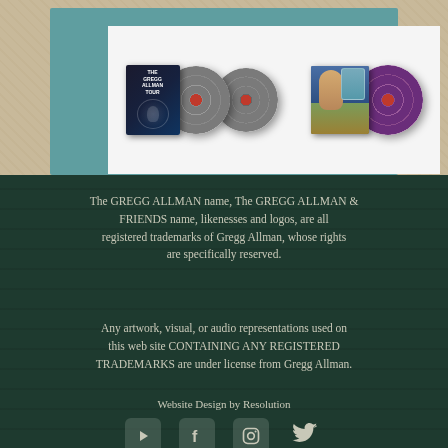[Figure (photo): Album products showing two vinyl record sets: Gregg Allman Tour with grey speckled vinyl records, and another album with portrait artwork and purple vinyl records, displayed against a teal-bordered frame on a textured beige background]
The GREGG ALLMAN name, The GREGG ALLMAN & FRIENDS name, likenesses and logos, are all registered trademarks of Gregg Allman, whose rights are specifically reserved.
Any artwork, visual, or audio representations used on this web site CONTAINING ANY REGISTERED TRADEMARKS are under license from Gregg Allman.
Website Design by Resolution
[Figure (infographic): Four social media icons: YouTube play button, Facebook f, Instagram camera, Twitter bird — displayed as rounded square icons in muted green-grey on dark green background]